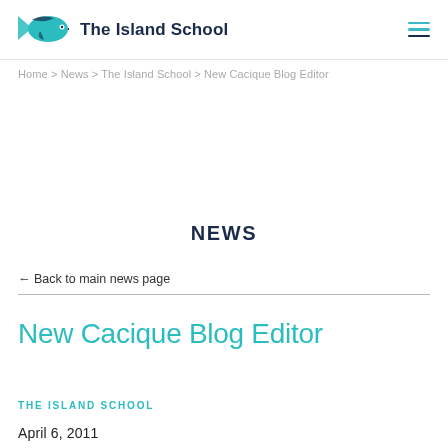The Island School
Home > News > The Island School > New Cacique Blog Editor
NEWS
← Back to main news page
New Cacique Blog Editor
THE ISLAND SCHOOL
April 6, 2011